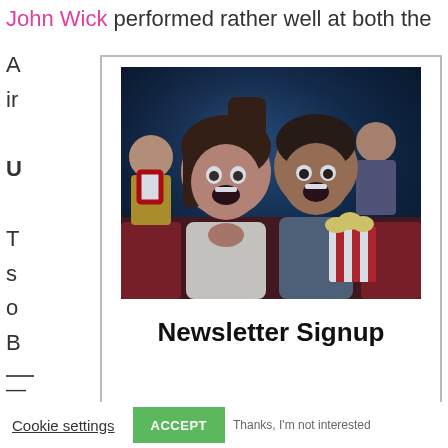John Wick performed rather well at both the A ir U T s o B —
[Figure (photo): Two excited people watching a movie at a cinema, holding red and white striped popcorn buckets, with other audience members visible in the background under blue lighting.]
Newsletter Signup
Cookie settings
ACCEPT
Thanks, I'm not interested